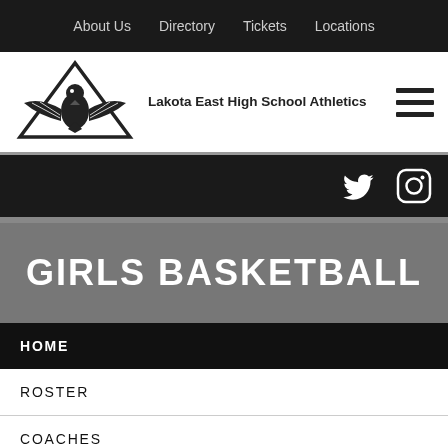About Us  Directory  Tickets  Locations
[Figure (logo): Lakota East High School Athletics eagle logo — black eagle inside a triangle/chevron shape]
Lakota East High School Athletics
[Figure (other): Twitter and Instagram social media icons in white on black bar]
GIRLS BASKETBALL
HOME
ROSTER
COACHES
SCHEDULE